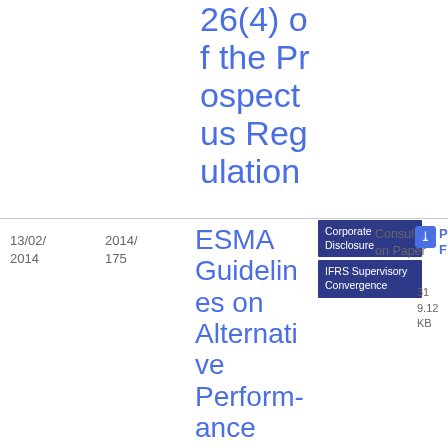26(4) of the Prospectus Regulation
| Date | Ref | Title | Tags | Type | File |
| --- | --- | --- | --- | --- | --- |
| 13/02/2014 | 2014/175 | ESMA Guidelines on Alternative Performance Mea... | Corporate Disclosure | IFRS Supervisory Convergence | Consultation Paper | PDF 319.12 KB |